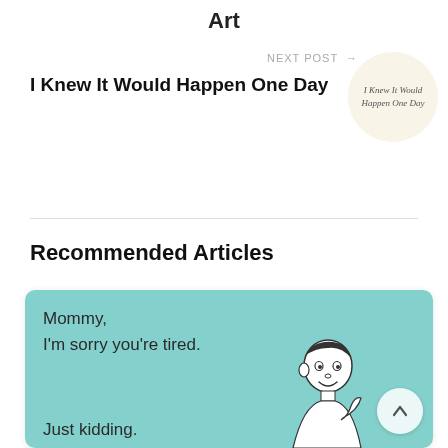Art
NEXT POST →
I Knew It Would Happen One Day
[Figure (illustration): Circular thumbnail image with cream background showing cursive text: I Knew It Would Happen One Day]
Recommended Articles
[Figure (illustration): Meme card on teal background with text: Mommy, I'm sorry you're tired. Just kidding. With cartoon illustration of a smiling baby/toddler and a scroll-to-top arrow button.]